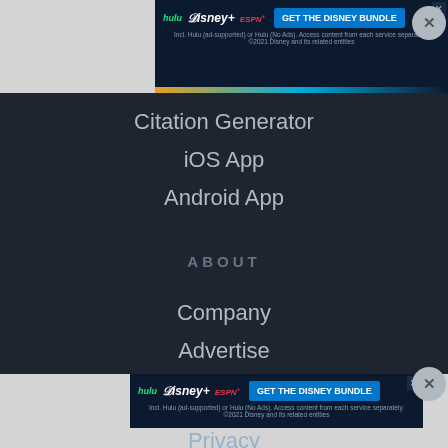[Figure (screenshot): Disney Bundle advertisement banner at top with Hulu, Disney+, ESPN+ logos and blue 'GET THE DISNEY BUNDLE' button]
Citation Generator
iOS App
Android App
ABOUT
Company
Advertise
Jobs HIRING
Blog
Legal
Site Map
[Figure (screenshot): Disney Bundle advertisement banner at bottom with Hulu, Disney+, ESPN+ logos and blue 'GET THE DISNEY BUNDLE' button]
Privacy